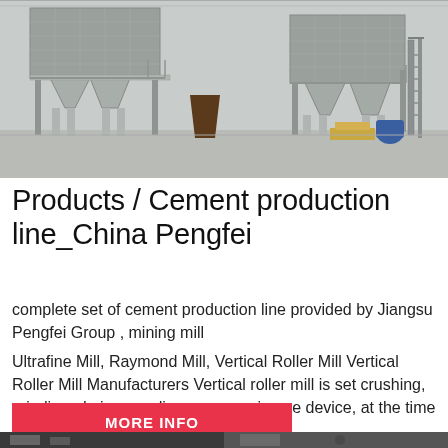[Figure (photo): Industrial cement production facility with large grey hopper/separator structures elevated on steel frames inside a factory building, with metal staircases and yellow construction materials visible.]
Products / Cement production line_China Pengfei
complete set of cement production line provided by Jiangsu Pengfei Group , mining mill
Ultrafine Mill, Raymond Mill, Vertical Roller Mill Vertical Roller Mill Manufacturers Vertical roller mill is set crushing, grinding, drying, grading conveyor in one device, at the time of processing, its grinding.
MORE INFO
[Figure (photo): Partial view of industrial machinery at the bottom of the page.]